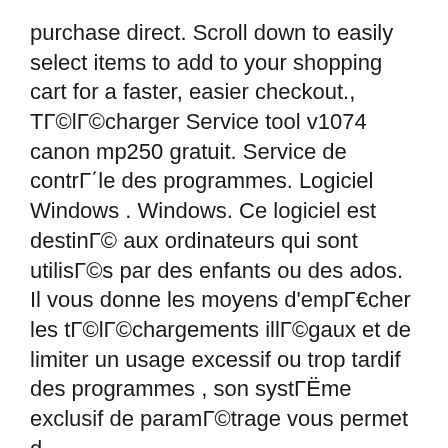purchase direct. Scroll down to easily select items to add to your shopping cart for a faster, easier checkout., TÃ©lÃ©charger Service tool v1074 canon mp250 gratuit. Service de contrÃ´le des programmes. Logiciel Windows . Windows. Ce logiciel est destinÃ© aux ordinateurs qui sont utilisÃ©s par des enfants ou des ados. Il vous donne les moyens d'empÃªcher les tÃ©lÃ©chargements illÃ©gaux et de limiter un usage excessif ou trop tardif des programmes , son systÃ¨me exclusif de paramÃ©trage vous permet d.
Service Tool V1074 Free